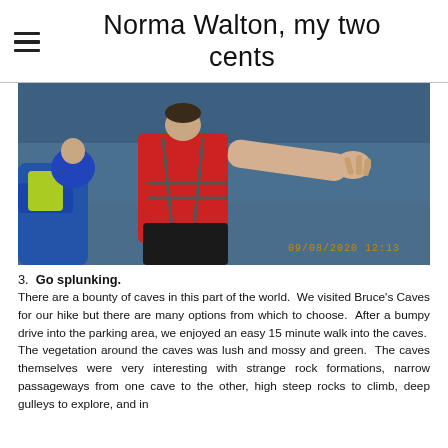Norma Walton, my two cents
[Figure (photo): Photo of children wearing life jackets on water, one leaning forward with arm extended, timestamp 09/08/2020 12:13]
3.  Go splunking.
There are a bounty of caves in this part of the world.  We visited Bruce's Caves for our hike but there are many options from which to choose.  After a bumpy drive into the parking area, we enjoyed an easy 15 minute walk into the caves.  The vegetation around the caves was lush and mossy and green.  The caves themselves were very interesting with strange rock formations, narrow passageways from one cave to the other, high steep rocks to climb, deep gulleys to explore, and in